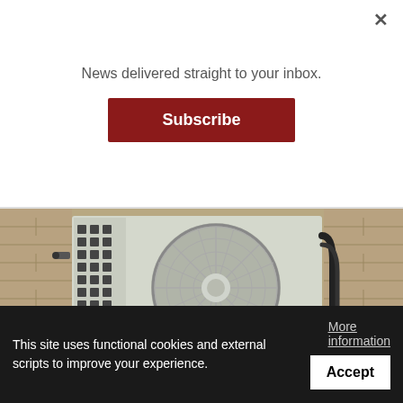News delivered straight to your inbox.
Subscribe
[Figure (photo): Outdoor ductless mini-split AC unit mounted on a brick wall, showing a large circular fan with protective grill]
Ductless AC Units Have Americans Turning Heads
This site uses functional cookies and external scripts to improve your experience.
More information
Accept